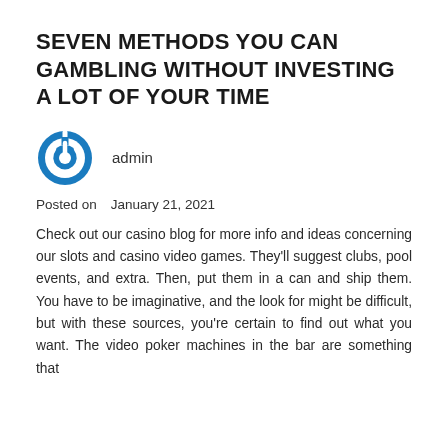SEVEN METHODS YOU CAN GAMBLING WITHOUT INVESTING A LOT OF YOUR TIME
[Figure (logo): Blue circular power/on button icon — admin avatar]
admin
Posted on    January 21, 2021
Check out our casino blog for more info and ideas concerning our slots and casino video games. They'll suggest clubs, pool events, and extra. Then, put them in a can and ship them. You have to be imaginative, and the look for might be difficult, but with these sources, you're certain to find out what you want. The video poker machines in the bar are something that